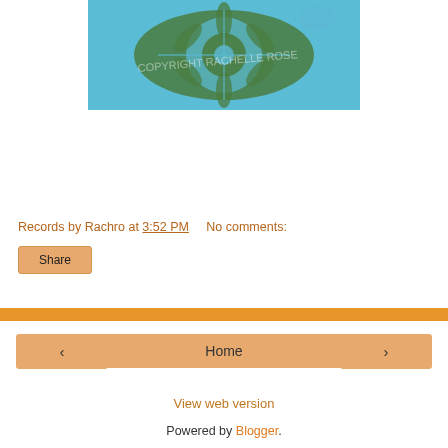[Figure (photo): Decorative blue and green mandala/botanical art photo with 'COPYRIGHT RACHELLE ROSE' watermark overlay]
Records by Rachro at 3:52 PM   No comments:
Share
‹
Home
›
View web version
Powered by Blogger.